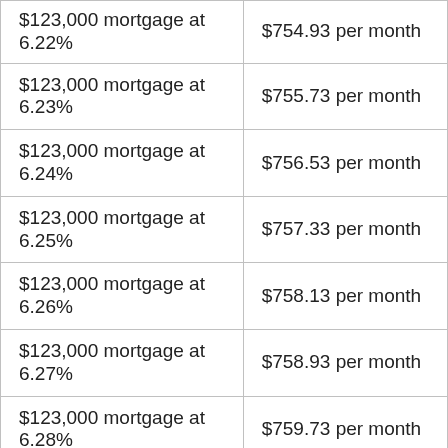| Mortgage | Monthly Payment |
| --- | --- |
| $123,000 mortgage at 6.22% | $754.93 per month |
| $123,000 mortgage at 6.23% | $755.73 per month |
| $123,000 mortgage at 6.24% | $756.53 per month |
| $123,000 mortgage at 6.25% | $757.33 per month |
| $123,000 mortgage at 6.26% | $758.13 per month |
| $123,000 mortgage at 6.27% | $758.93 per month |
| $123,000 mortgage at 6.28% | $759.73 per month |
| $123,000 mortgage at 6.29% | $760.53 per month |
| $123,000 mortgage at 6.3% | $761.34 per month |
| $123,000 mortgage at 6.31% | $762.14 per month |
| $123,000 mortgage at 6.32% | $762.94 per month |
| $123,000 mortgage at 6.33% | $763.74 per month |
| $123,000 mortgage at 6.34% | $764.55 per month |
| $123,000 mortgage at 6.35% | $765.35 per month |